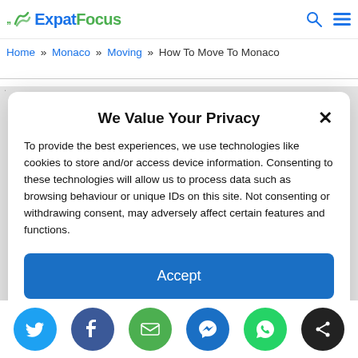ExpatFocus [logo]
Home » Monaco » Moving » How To Move To Monaco
We Value Your Privacy
To provide the best experiences, we use technologies like cookies to store and/or access device information. Consenting to these technologies will allow us to process data such as browsing behaviour or unique IDs on this site. Not consenting or withdrawing consent, may adversely affect certain features and functions.
Accept
Cookie Policy  Privacy Statement
[Figure (illustration): Partial illustration of a cartoon character with golden/red elements visible at bottom of page]
[Figure (infographic): Social sharing buttons row: Twitter (blue), Facebook (dark blue), Email (green), Messenger (blue), WhatsApp (green), Share (black)]